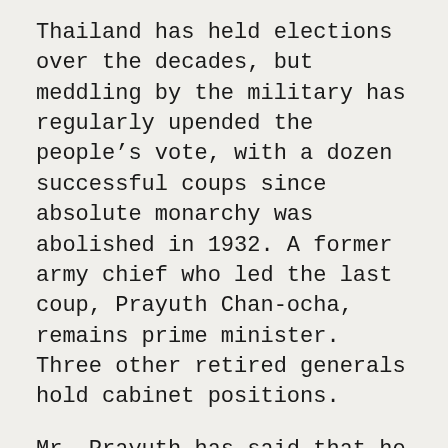Thailand has held elections over the decades, but meddling by the military has regularly upended the people's vote, with a dozen successful coups since absolute monarchy was abolished in 1932. A former army chief who led the last coup, Prayuth Chan-ocha, remains prime minister. Three other retired generals hold cabinet positions.
Mr. Prayuth has said that he is willing to listen to the students. He has also joked that he would like to execute journalists who veer from the truth and assailed those who have called for more accountability over the monarchy.
The junta leaders said protecting the palace